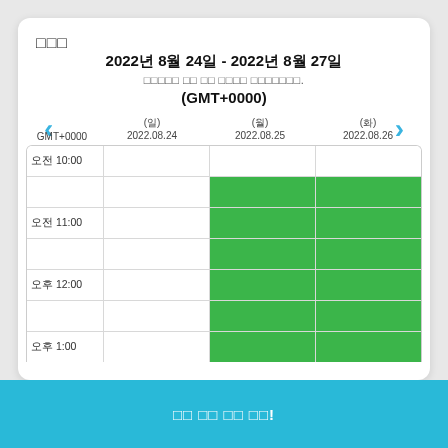□□□
2022년 8월 24일 - 2022년 8월 27일
□□□□□ □□ □□ □□□□ □□□□□□□.
(GMT+0000)
[Figure (screenshot): Weekly availability calendar grid showing time slots from 10:00 to 1:00 for dates 2022.08.24, 2022.08.25, 2022.08.26. Green cells indicate availability on 2022.08.25 and 2022.08.26 starting from the second row through the visible rows.]
□□ □□ □□ □□!